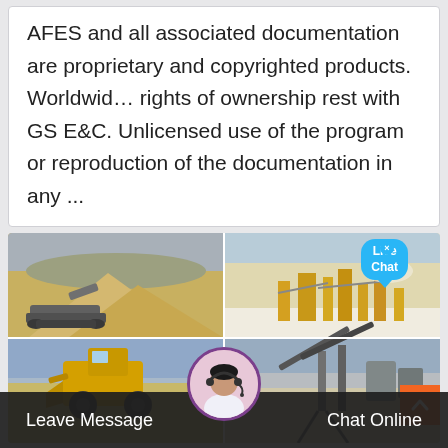AFES and all associated documentation are proprietary and copyrighted products. Worldwid... rights of ownership rest with GS E&C. Unlicensed use of the program or reproduction of the documentation in any ...
[Figure (photo): Four-panel image grid showing heavy mining/quarrying equipment and sand/gravel operations. Top-left: large crawler/tracked equipment on sand pile. Top-right: industrial crushing/screening plant in white quarry. Bottom-left: yellow front-loader/excavator against blue sky. Bottom-right: conveyor belt structure in quarry. Overlaid with 'Live Chat' bubble and a 'x' close button in top right. Orange scroll-to-top button bottom right. Customer support agent avatar at bottom center.]